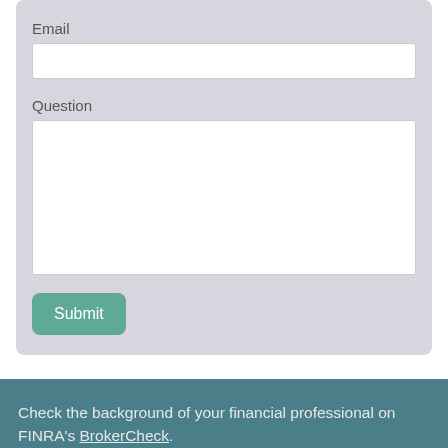Email
[Figure (other): Email input text field (empty)]
Question
[Figure (other): Question textarea input field (empty, resizable)]
Submit
Check the background of your financial professional on FINRA's BrokerCheck.
The content is developed from sources believed to be providing accurate information. The information in this material is not